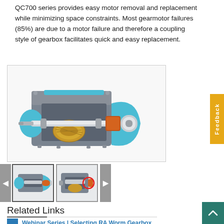QC700 series provides easy motor removal and replacement while minimizing space constraints. Most gearmotor failures (85%) are due to a motor failure and therefore a coupling style of gearbox facilitates quick and easy replacement.
[Figure (engineering-diagram): Cutaway/cross-section illustration of a worm gearbox (QC700 series) showing internal gearing, worm gear, and motor coupling interface. The housing is grey and blue, with visible gold-colored worm gear, chrome shaft, and orange motor coupling element.]
[Figure (photo): Thumbnail image 1: front view of QC700 gearbox showing coupling end, grey and blue housing.]
[Figure (photo): Thumbnail image 2: side view of QC700 gearbox with red circle highlighting the coupling/motor interface.]
Related Links
Webinar Series | Selecting RA Worm Gearbox